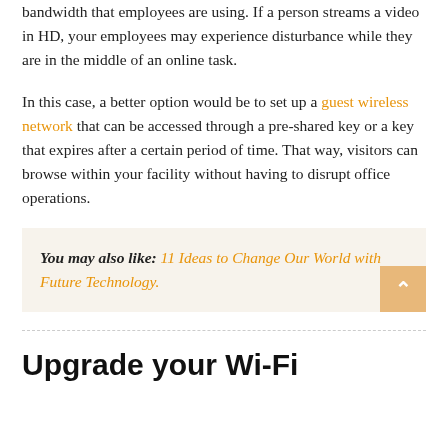bandwidth that employees are using. If a person streams a video in HD, your employees may experience disturbance while they are in the middle of an online task.
In this case, a better option would be to set up a guest wireless network that can be accessed through a pre-shared key or a key that expires after a certain period of time. That way, visitors can browse within your facility without having to disrupt office operations.
You may also like: 11 Ideas to Change Our World with Future Technology.
Upgrade your Wi-Fi